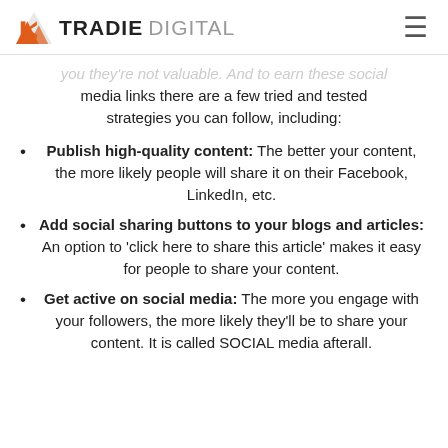TRADIE DIGITAL
you they're not valuable. And to earn these social media links there are a few tried and tested strategies you can follow, including:
Publish high-quality content: The better your content, the more likely people will share it on their Facebook, LinkedIn, etc.
Add social sharing buttons to your blogs and articles: An option to 'click here to share this article' makes it easy for people to share your content.
Get active on social media: The more you engage with your followers, the more likely they'll be to share your content. It is called SOCIAL media afterall.